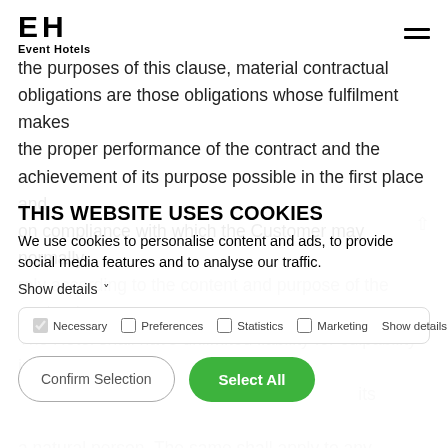EH Event Hotels
the purposes of this clause, material contractual obligations are those obligations whose fulfilment makes the proper performance of the contract and the achievement of its purpose possible in the first place and on compliance with which the Customer may normally
rely according to the content and purpose of the contract.
The Hotel shall have unlimited liability for culpability in
[...] its legal representative or its agents
a natural person. The same shall apply to any possible
under the German product liability act.
THIS WEBSITE USES COOKIES
We use cookies to personalise content and ads, to provide social media features and to analyse our traffic.
Show details
Necessary  Preferences  Statistics  Marketing  Show details
Confirm Selection
Select All
Should the event actually not be able to take place due
event in the presence of [...] the event might
[...] during the COVID-19 pandemic
[...] COVID-19 pandemic and/or
a subsequent pandemic – for example due to a ban on the event and/or capacity restrictions in and/or hygiene